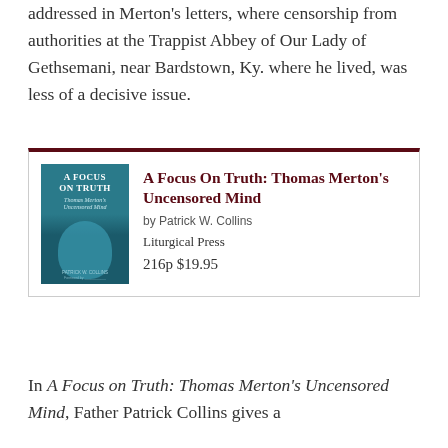addressed in Merton's letters, where censorship from authorities at the Trappist Abbey of Our Lady of Gethsemani, near Bardstown, Ky. where he lived, was less of a decisive issue.
[Figure (illustration): Book listing card for 'A Focus On Truth: Thomas Merton's Uncensored Mind' by Patrick W. Collins, published by Liturgical Press, 216p $19.95. Includes a book cover image showing the title and author's face in teal tones.]
In A Focus on Truth: Thomas Merton's Uncensored Mind, Father Patrick Collins gives a